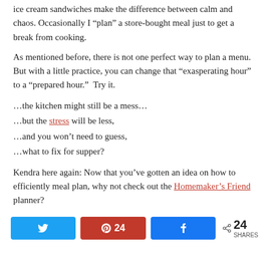ice cream sandwiches make the difference between calm and chaos. Occasionally I “plan” a store-bought meal just to get a break from cooking.
As mentioned before, there is not one perfect way to plan a menu.  But with a little practice, you can change that “exasperating hour” to a “prepared hour.”  Try it.
…the kitchen might still be a mess…
…but the stress will be less,
…and you won’t need to guess,
…what to fix for supper?
Kendra here again: Now that you’ve gotten an idea on how to efficiently meal plan, why not check out the Homemaker’s Friend planner?
[Figure (infographic): Social share bar with Twitter, Pinterest (24), and Facebook buttons, plus a share count of 24 SHARES]